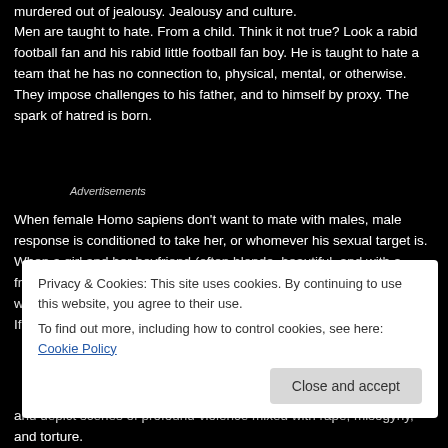murdered out of jealousy. Jealousy and culture.
Men are taught to hate. From a child. Think it not true? Look a rabid football fan and his rabid little football fan boy. He is taught to hate a team that he has no connection to, physical, mental, or otherwise. They impose challenges to his father, and to himself by proxy. The spark of hatred is born.
Advertisements
When female Homo sapiens don't want to mate with males, male response is conditioned to take her, or whomever his sexual target is. When a girl and her boyfriend (often blonde, beautiful, and with a fragile name like Jules, or Amy) are copulating in a horror movie, the woman's death is guaranteed, typically while topless, naked, or worse. If a non-white, non-male character even b... l... a... w... and depict scenes of profound violence mixed with rape, misogyny, and torture. The media uses yet another disclaimer to then absolve itself of showing
Privacy & Cookies: This site uses cookies. By continuing to use this website, you agree to their use.
To find out more, including how to control cookies, see here: Cookie Policy
Close and accept